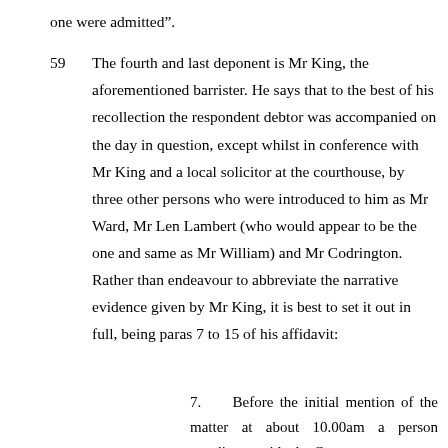one were admitted”.
59    The fourth and last deponent is Mr King, the aforementioned barrister. He says that to the best of his recollection the respondent debtor was accompanied on the day in question, except whilst in conference with Mr King and a local solicitor at the courthouse, by three other persons who were introduced to him as Mr Ward, Mr Len Lambert (who would appear to be the one and same as Mr William) and Mr Codrington. Rather than endeavour to abbreviate the narrative evidence given by Mr King, it is best to set it out in full, being paras 7 to 15 of his affidavit:
7.    Before the initial mention of the matter at about 10.00am a person standing outside the Court